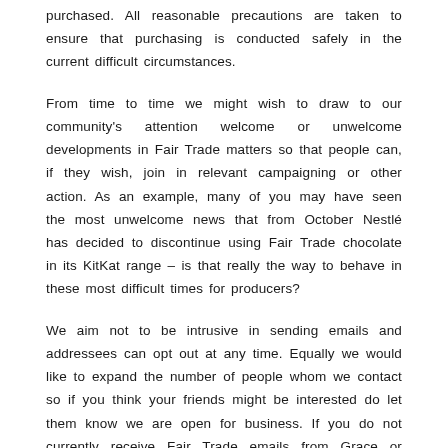purchased. All reasonable precautions are taken to ensure that purchasing is conducted safely in the current difficult circumstances.
From time to time we might wish to draw to our community's attention welcome or unwelcome developments in Fair Trade matters so that people can, if they wish, join in relevant campaigning or other action. As an example, many of you may have seen the most unwelcome news that from October Nestlé has decided to discontinue using Fair Trade chocolate in its KitKat range – is that really the way to behave in these most difficult times for producers?
We aim not to be intrusive in sending emails and addressees can opt out at any time. Equally we would like to expand the number of people whom we contact so if you think your friends might be interested do let them know we are open for business. If you do not currently receive Fair Trade emails from Grace or Michael and would like to do so in future please let us know.